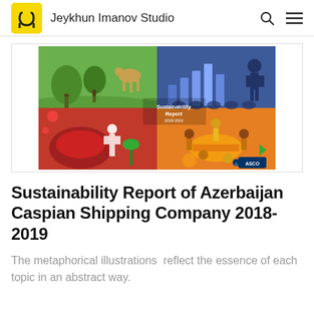Jeykhun Imanov Studio
[Figure (illustration): Cover of ASCO Sustainability Report 2018-2019. Four-quadrant illustration: top-left green with outdoor/nature scene and figures, top-right blue with bar chart and business figure, bottom-left red with industrial/food scene and worker, bottom-right yellow/orange with group discussion scene. Center text reads 'Sustainability Report' with ASCO logo at bottom right.]
Sustainability Report of Azerbaijan Caspian Shipping Company 2018-2019
The metaphorical illustrations  reflect the essence of each topic in an abstract way.